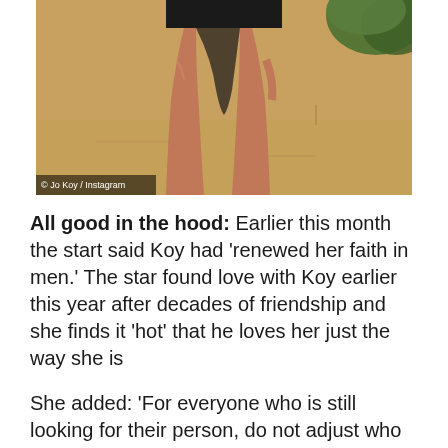[Figure (photo): Photo showing the lower body/legs of a person in a black swimsuit standing on a sandy beach, with foliage visible in the top right corner. Caption reads '© Jo Koy / Instagram'.]
© Jo Koy / Instagram
All good in the hood: Earlier this month the start said Koy had ‘renewed her faith in men.’ The star found love with Koy earlier this year after decades of friendship and she finds it ‘hot’ that he loves her just the way she is
She added: ‘For everyone who is still looking for their person, do not adjust who you are or